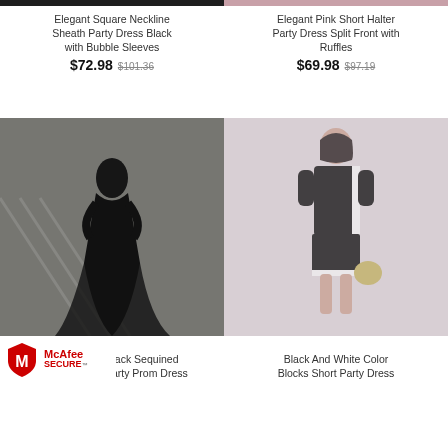[Figure (photo): Black dress partial cropped at top left]
[Figure (photo): Pink halter dress partial cropped at top right]
Elegant Square Neckline Sheath Party Dress Black with Bubble Sleeves
$72.98 $101.36
Elegant Pink Short Halter Party Dress Split Front with Ruffles
$69.98 $97.19
[Figure (photo): Woman in black sequined mermaid gown standing on stairs]
[Figure (photo): Woman in black and white short party dress holding silver bag]
Black Sequined d Party Prom Dress
Black And White Color Blocks Short Party Dress
[Figure (logo): McAfee SECURE logo]